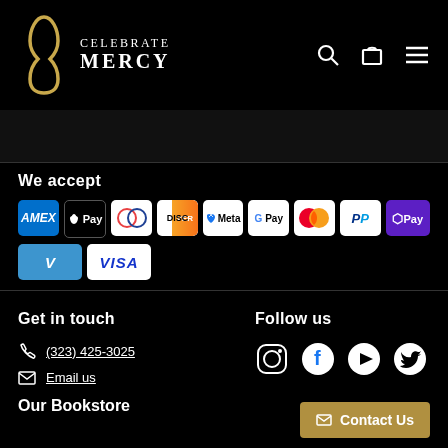CELEBRATE MERCY
We accept
[Figure (infographic): Payment method icons: AMEX, Apple Pay, Diners Club, Discover, Meta Pay, Google Pay, Mastercard, PayPal, Shop Pay, Venmo, Visa]
Get in touch
(323) 425-3025
Email us
Our Bookstore
Follow us
[Figure (infographic): Social media icons: Instagram, Facebook, YouTube, Twitter]
Contact Us